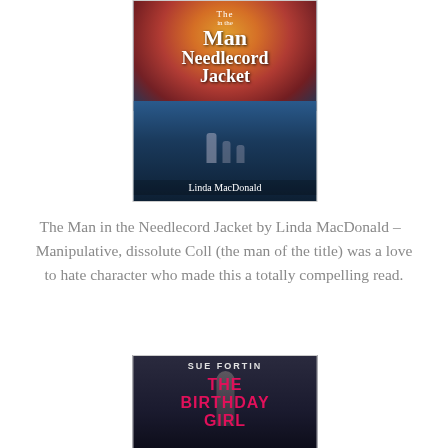[Figure (illustration): Book cover of 'The Man in the Needlecord Jacket' by Linda MacDonald. Shows two figures walking away on a path flanked by autumn-colored trees. The title is displayed prominently in white serif font and the author name appears at the bottom.]
The Man in the Needlecord Jacket by Linda MacDonald –  Manipulative, dissolute Coll (the man of the title) was a love to hate character who made this a totally compelling read.
[Figure (illustration): Book cover of 'The Birthday Girl' by Sue Fortin. Dark atmospheric cover with trees and a figure. Title is in bold pink/magenta lettering and author name in white at the top.]